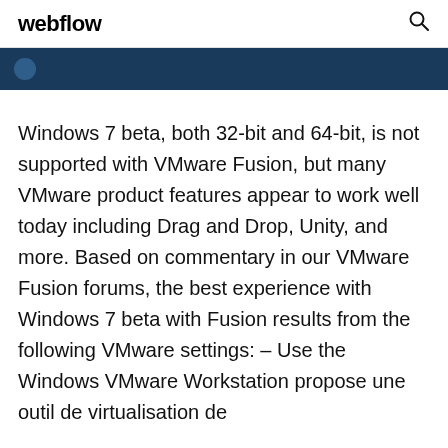webflow
[Figure (other): Dark blue navigation bar with a circular icon on the left]
Windows 7 beta, both 32-bit and 64-bit, is not supported with VMware Fusion, but many VMware product features appear to work well today including Drag and Drop, Unity, and more. Based on commentary in our VMware Fusion forums, the best experience with Windows 7 beta with Fusion results from the following VMware settings: – Use the Windows VMware Workstation propose une outil de virtualisation de